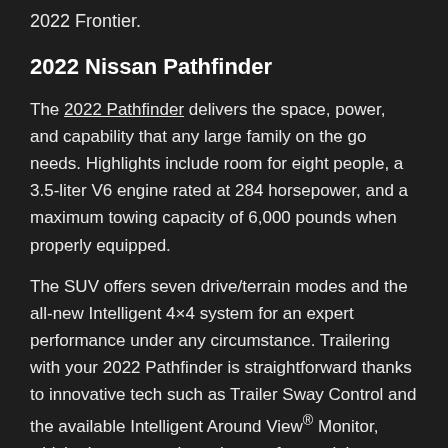2022 Frontier.
2022 Nissan Pathfinder
The 2022 Pathfinder delivers the space, power, and capability that any large family on the go needs. Highlights include room for eight people, a 3.5-liter V6 engine rated at 284 horsepower, and a maximum towing capacity of 6,000 pounds when properly equipped.
The SUV offers seven drive/terrain modes and the all-new Intelligent 4×4 system for an expert performance under any circumstance. Trailering with your 2022 Pathfinder is straightforward thanks to innovative tech such as Trailer Sway Control and the available Intelligent Around View® Monitor, which gives you a clear picture of potential obstacles during the hitching process.
2022 Nissan Frontier